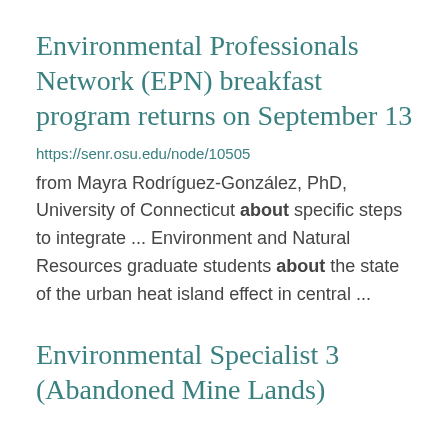Environmental Professionals Network (EPN) breakfast program returns on September 13
https://senr.osu.edu/node/10505
from Mayra Rodríguez-González, PhD, University of Connecticut about specific steps to integrate ... Environment and Natural Resources graduate students about the state of the urban heat island effect in central ...
Environmental Specialist 3 (Abandoned Mine Lands)